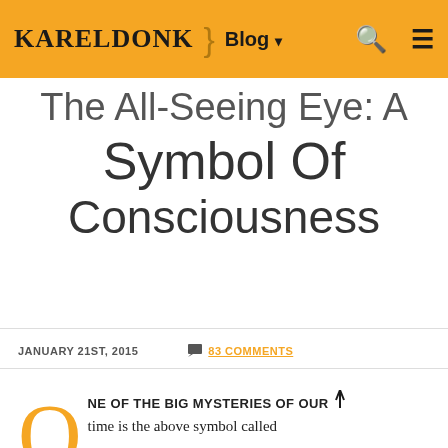KARELDONK } Blog ▾ 🔍 ≡
The All-Seeing Eye: A Symbol Of Consciousness
JANUARY 21ST, 2015   💬 83 COMMENTS
ONE OF THE BIG MYSTERIES OF OUR time is the above symbol called